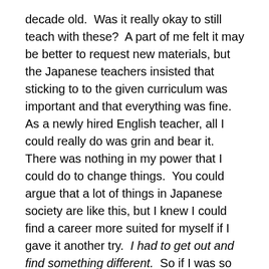decade old.  Was it really okay to still teach with these?  A part of me felt it may be better to request new materials, but the Japanese teachers insisted that sticking to to the given curriculum was important and that everything was fine.  As a newly hired English teacher, all I could really do was grin and bear it.  There was nothing in my power that I could do to change things.  You could argue that a lot of things in Japanese society are like this, but I knew I could find a career more suited for myself if I gave it another try.  I had to get out and find something different.  So if I was so capable in my abilities, why did I take up English teaching in the first place?
The simple answer is: English teaching is the easiest way to get a working visa in Japan.  You could say this